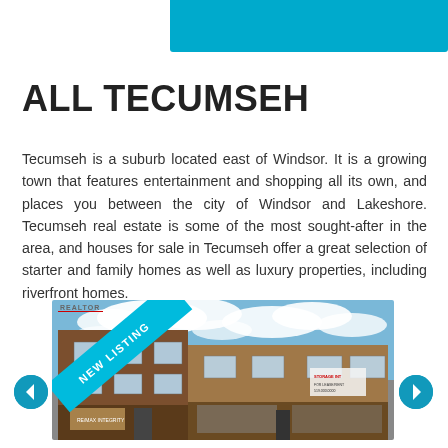ALL TECUMSEH
Tecumseh is a suburb located east of Windsor. It is a growing town that features entertainment and shopping all its own, and places you between the city of Windsor and Lakeshore. Tecumseh real estate is some of the most sought-after in the area, and houses for sale in Tecumseh offer a great selection of starter and family homes as well as luxury properties, including riverfront homes.
[Figure (photo): Exterior photo of a brick commercial/residential building with a 'NEW LISTING' ribbon banner in the corner. The building has storefronts on the ground floor and the sky is visible above.]